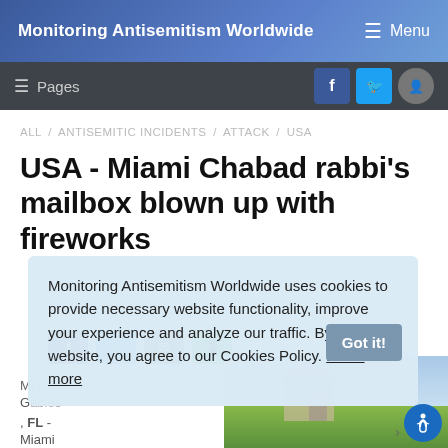Monitoring Antisemitism Worldwide   Menu
Pages   [Facebook] [Twitter] [Reddit]
ALL / ANTISEMITIC INCIDENTS / ATTACK / USA
USA - Miami Chabad rabbi's mailbox blown up with fireworks
Monitoring Antisemitism Worldwide uses cookies to provide necessary website functionality, improve your experience and analyze our traffic. By using our website, you agree to our Cookies Policy. Learn more
DECEMBER 31, 2021
Miami
, FL  -
Miami